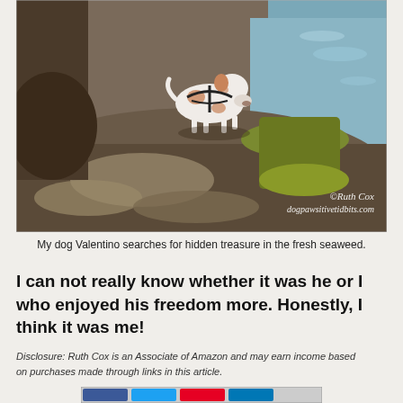[Figure (photo): A white and brown spotted dog wearing a black harness, sniffing along a rocky shoreline covered with fresh green seaweed, with water visible in the background. Watermark reads: ©Ruth Cox dogpawsitivetidbits.com]
My dog Valentino searches for hidden treasure in the fresh seaweed.
I can not really know whether it was he or I who enjoyed his freedom more. Honestly, I think it was me!
Disclosure: Ruth Cox is an Associate of Amazon and may earn income based on purchases made through links in this article.
[Figure (screenshot): Partial bottom bar with social media sharing icons]